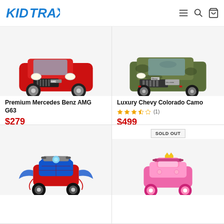Kid Trax
[Figure (photo): Red Mercedes Benz AMG G63 ride-on toy car, front view]
Premium Mercedes Benz AMG G63
$279
2 colors
[Figure (photo): Camo Chevy Colorado ride-on toy truck, front view]
Luxury Chevy Colorado Camo
$499
[Figure (photo): Spider-Man themed blue and red quad ATV ride-on toy]
[Figure (photo): Pink Disney Princess quad ride-on toy]
SOLD OUT